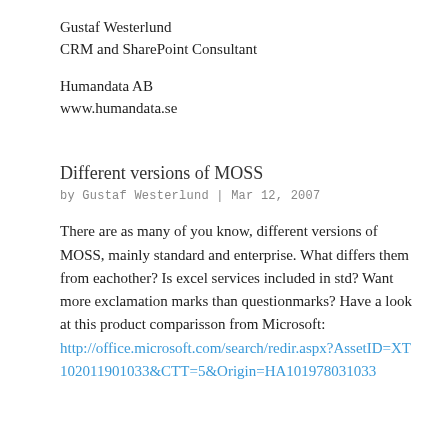Gustaf Westerlund
CRM and SharePoint Consultant
Humandata AB
www.humandata.se
Different versions of MOSS
by Gustaf Westerlund | Mar 12, 2007
There are as many of you know, different versions of MOSS, mainly standard and enterprise. What differs them from eachother? Is excel services included in std? Want more exclamation marks than questionmarks? Have a look at this product comparisson from Microsoft:
http://office.microsoft.com/search/redir.aspx?AssetID=XT102011901033&CTT=5&Origin=HA101978031033